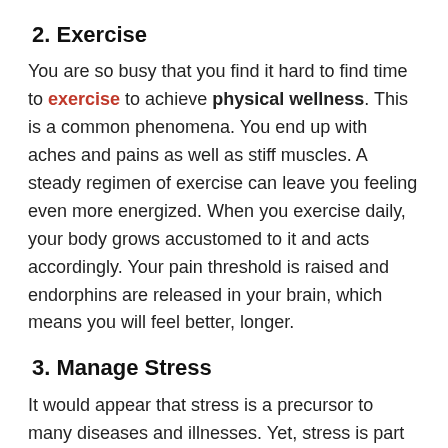2. Exercise
You are so busy that you find it hard to find time to exercise to achieve physical wellness. This is a common phenomena. You end up with aches and pains as well as stiff muscles. A steady regimen of exercise can leave you feeling even more energized. When you exercise daily, your body grows accustomed to it and acts accordingly. Your pain threshold is raised and endorphins are released in your brain, which means you will feel better, longer.
3. Manage Stress
It would appear that stress is a precursor to many diseases and illnesses. Yet, stress is part of our everyday lives. All of us have to learn how to deal with it.